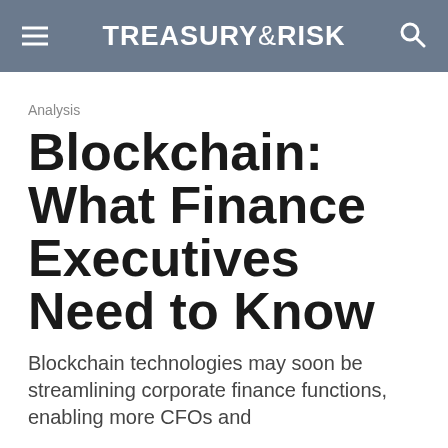TREASURY&RISK
Analysis
Blockchain: What Finance Executives Need to Know
Blockchain technologies may soon be streamlining corporate finance functions, enabling more CFOs and